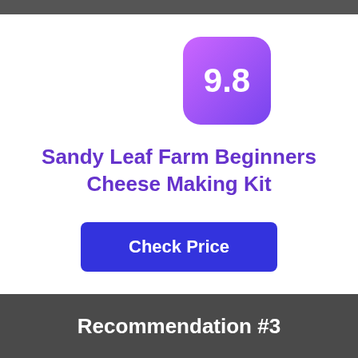[Figure (other): Score badge showing 9.8 in a purple rounded rectangle, positioned to the right of center]
Sandy Leaf Farm Beginners Cheese Making Kit
Check Price
Recommendation #3